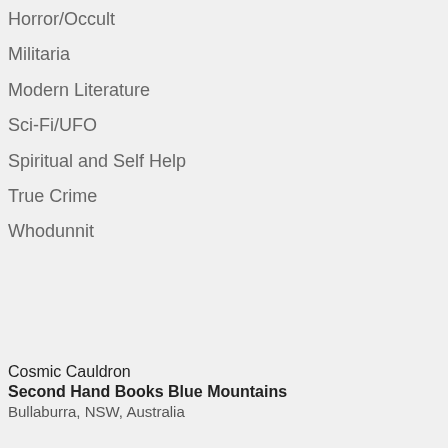Horror/Occult
Militaria
Modern Literature
Sci-Fi/UFO
Spiritual and Self Help
True Crime
Whodunnit
Cosmic Cauldron
Second Hand Books Blue Mountains
Bullaburra, NSW, Australia